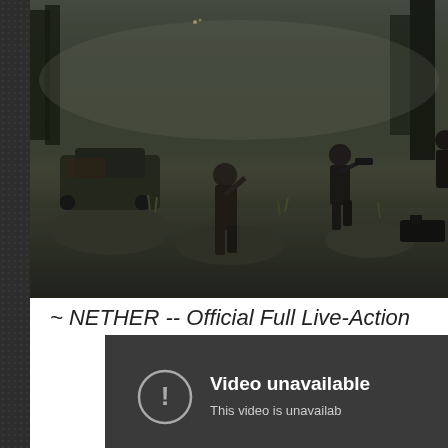[Figure (screenshot): A dark, post-apocalyptic video game screenshot showing armed characters in a foggy, overgrown environment with abandoned rusted cars and rocks. Characters appear to be in combat stance.]
~ NETHER -- Official Full Live-Action
[Figure (screenshot): Embedded YouTube video player showing 'Video unavailable' error message with a circle exclamation mark icon and text 'This video is unavailab...' on a dark gray background.]